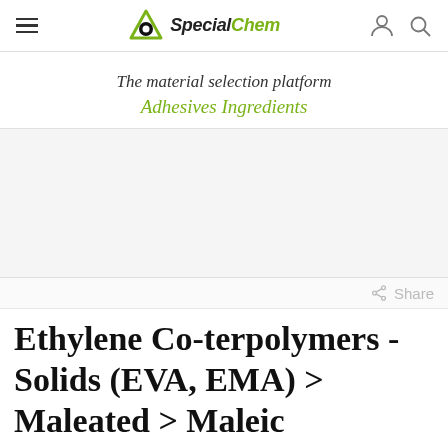SpecialChem — The material selection platform — Adhesives Ingredients
The material selection platform
Adhesives Ingredients
[Figure (other): Advertisement / blank space area]
Share
Ethylene Co-terpolymers - Solids (EVA, EMA) > Maleated > Maleic Anhydride EVA Terpolymers